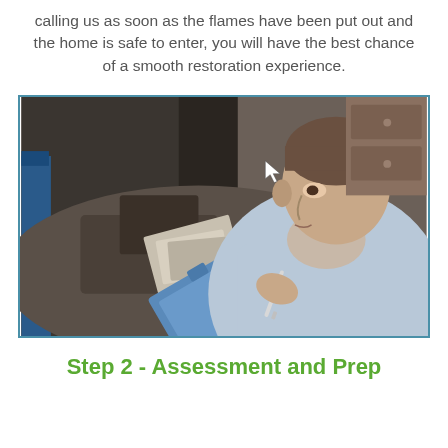calling us as soon as the flames have been put out and the home is safe to enter, you will have the best chance of a smooth restoration experience.
[Figure (photo): A man in a light blue shirt holding a blue clipboard and pen, inspecting fire-damaged debris and rubble.]
Step 2 - Assessment and Prep